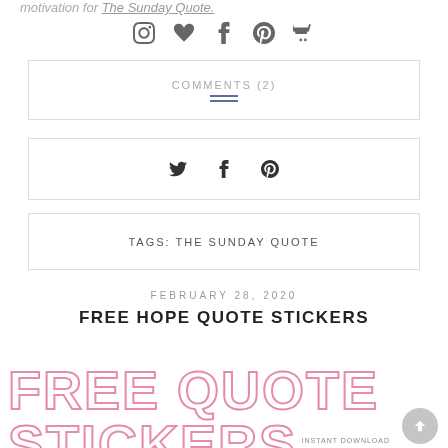motivation for The Sunday Quote.
[Figure (infographic): Social media icons: Instagram, heart/Bloglovin, Facebook, Pinterest, shopping basket]
COMMENTS (2)
[Figure (infographic): Share icons: Twitter, Facebook, Pinterest]
TAGS: THE SUNDAY QUOTE
FEBRUARY 28, 2020
FREE HOPE QUOTE STICKERS
[Figure (illustration): Large outlined pink text reading FREE QUOTE STICKERS with a partially visible sticker product image below including INSTANT DOWNLOAD label]